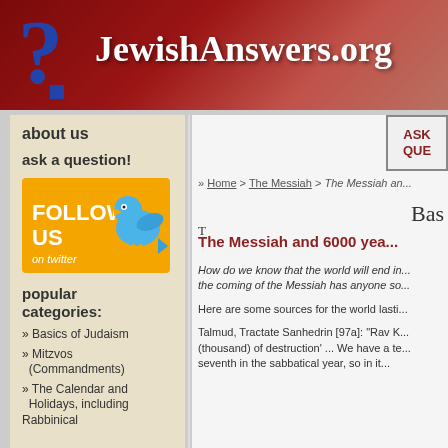JewishAnswers.org
about us
ask a question!
[Figure (infographic): Orange Follow Us on Twitter button with blue Twitter bird graphic]
popular categories:
» Basics of Judaism
» Mitzvos (Commandments)
» The Calendar and Holidays, including Rabbinical
» Home > The Messiah > The Messiah an...
Bas
The Messiah and 6000 yea...
How do we know that the world will end in... the coming of the Messiah has anyone so...
Here are some sources for the world lasti...
Talmud, Tractate Sanhedrin [97a]: "Rav K... (thousand) of destruction' ... We have a te... seventh in the sabbatical year, so in it...